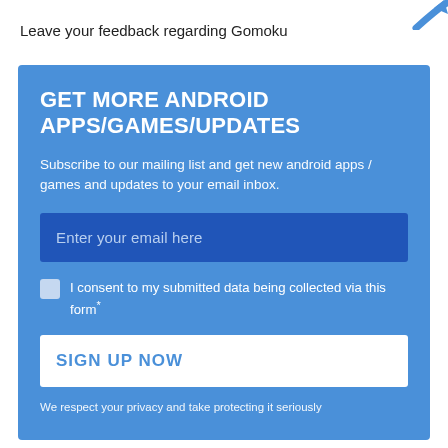[Figure (illustration): Partial blue curved arrow/icon in top right corner]
Leave your feedback regarding Gomoku
GET MORE ANDROID APPS/GAMES/UPDATES
Subscribe to our mailing list and get new android apps / games and updates to your email inbox.
Enter your email here
I consent to my submitted data being collected via this form*
SIGN UP NOW
We respect your privacy and take protecting it seriously